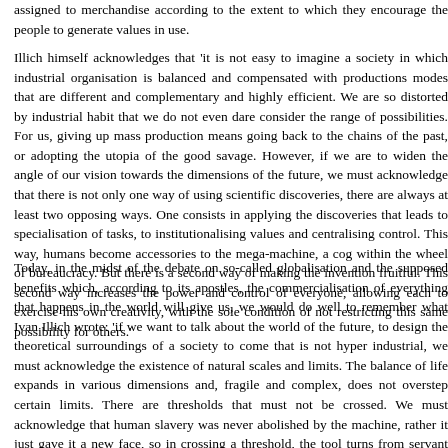assigned to merchandise according to the extent to which they encourage the people to generate values in use.
Illich himself acknowledges that 'it is not easy to imagine a society in which industrial organisation is balanced and compensated with productions modes that are different and complementary and highly efficient. We are so distorted by industrial habit that we do not even dare consider the range of possibilities. For us, giving up mass production means going back to the chains of the past, or adopting the utopia of the good savage. However, if we are to widen the angle of our vision towards the dimensions of the future, we must acknowledge that there is not only one way of using scientific discoveries, there are always at least two opposing ways. One consists in applying the discoveries that leads to specialisation of tasks, to institutionalising values and centralising control. This way, humans become accessories to the mega-machine, a cog within the wheel of bureaucracy. But there is a second way of making the invention fruitful. This second way increases the power and control of everyone, allowing each to exercise his own creativity, with the sole condition of not restricting this same possibility for others.'
Today, in the midst of the debate on so-called globalisation and the supposed benefits which, according to its apostles, the commercialisation of everything that happens in the world will give us, we would do well to remember what Ivan Illich wrote: 'if we want to talk about the world of the future, to design the theoretical surroundings of a society to come that is not hyper industrial, we must acknowledge the existence of natural scales and limits. The balance of life expands in various dimensions and, fragile and complex, does not overstep certain limits. There are thresholds that must not be crossed. We must acknowledge that human slavery was never abolished by the machine, rather it just gave it a new face, so in crossing a threshold, the tool turns from servant into despot. Having crossed a threshold, society becomes a school, a hospital or a prison. That is where the big trap lies. This is precisely why it is important to find out where the critical threshold is for each component of global balance. The goal is to be possible to articulate in a new way the age-old triad made up by humans, tools